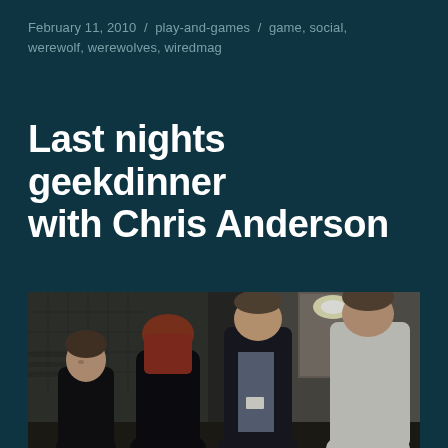February 11, 2010  /  play-and-games  /  game, social, werewolf, werewolves, wiredmag
Last nights geekdinner with Chris Anderson
[Figure (photo): Four people standing and conversing indoors. Two women on the left (one with short dark hair in a dark jacket, one with reddish-brown hair with her back to the camera), and two men on the right (one in a dark blazer over a striped shirt with a name badge, one in a white shirt). The setting appears to be a modern building lobby or corridor.]